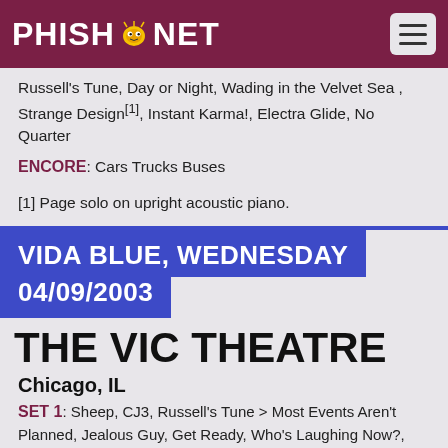PHISH.NET
Russell's Tune, Day or Night, Wading in the Velvet Sea, Strange Design[1], Instant Karma!, Electra Glide, No Quarter
ENCORE: Cars Trucks Buses
[1] Page solo on upright acoustic piano.
VIDA BLUE, WEDNESDAY 04/09/2003
THE VIC THEATRE
Chicago, IL
SET 1: Sheep, CJ3, Russell's Tune > Most Events Aren't Planned, Jealous Guy, Get Ready, Who's Laughing Now?, Mother Nature's Son [1], Army of One[1], Strange Design[1], You Never Can Tell, Electra Glide, Day or Night, Manic Depression